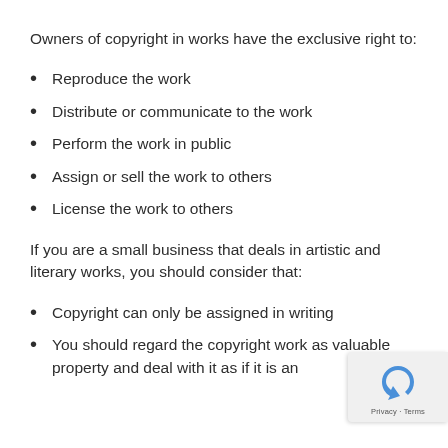Owners of copyright in works have the exclusive right to:
Reproduce the work
Distribute or communicate to the work
Perform the work in public
Assign or sell the work to others
License the work to others
If you are a small business that deals in artistic and literary works, you should consider that:
Copyright can only be assigned in writing
You should regard the copyright work as valuable property and deal with it as if it is an